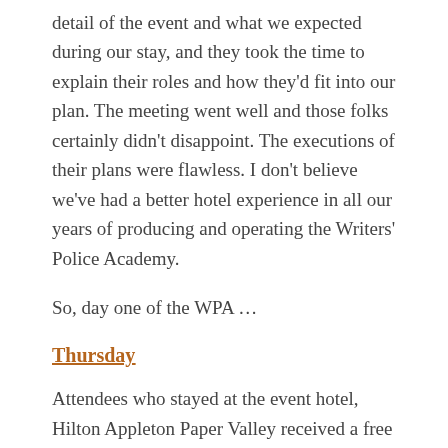detail of the event and what we expected during our stay, and they took the time to explain their roles and how they'd fit into our plan. The meeting went well and those folks certainly didn't disappoint. The executions of their plans were flawless. I don't believe we've had a better hotel experience in all our years of producing and operating the Writers' Police Academy.
So, day one of the WPA …
Thursday
Attendees who stayed at the event hotel, Hilton Appleton Paper Valley received a free buffet breakfast each day in a private Salon reserved for the WPA.
12 noon – 4 p.m.
For four hours, attendees were treated to a large indoor